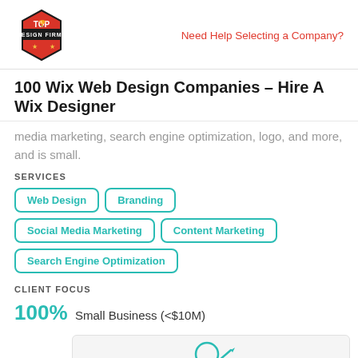[Figure (logo): Top Design Firms hexagonal red/black logo]
Need Help Selecting a Company?
100 Wix Web Design Companies – Hire A Wix Designer
media marketing, search engine optimization, logo, and more, and is small.
SERVICES
Web Design
Branding
Social Media Marketing
Content Marketing
Search Engine Optimization
CLIENT FOCUS
100% Small Business (<$10M)
[Figure (illustration): Lightbulb/creativity icon in teal at bottom of page]